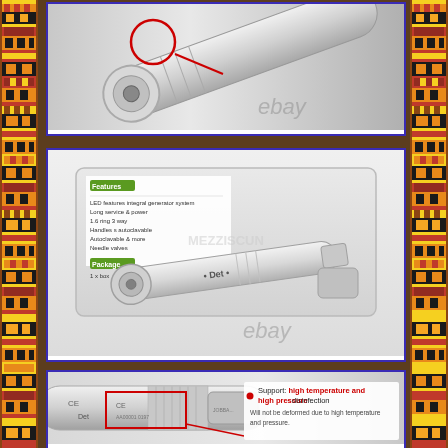[Figure (photo): Close-up of a dental handpiece head showing the chuck mechanism, with a red circle highlighting a detail and red arrow pointing to it. 'ebay' watermark visible. Silver metallic handpiece on light background.]
[Figure (photo): Dental high-speed handpiece in a clear plastic storage box with product specification text in green labels (Features and Function sections). 'ebay' watermark visible. Product brand appears to be 'Det' or similar.]
[Figure (photo): Close-up of dental handpiece body showing CE marking and text engravings. Red rectangle highlights the connection area. Text annotations read: 'Support: high temperature and high pressure disinfection. Will not be deformed due to high temperature and pressure.']